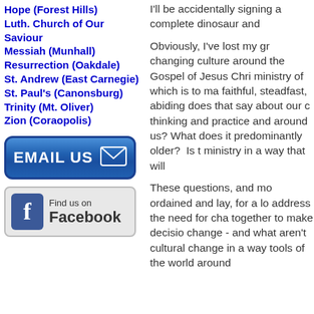Hope (Forest Hills)
Luth. Church of Our Saviour
Messiah (Munhall)
Resurrection (Oakdale)
St. Andrew (East Carnegie)
St. Paul's (Canonsburg)
Trinity (Mt. Oliver)
Zion (Coraopolis)
[Figure (other): EMAIL US button with envelope icon, blue rounded rectangle]
[Figure (other): Find us on Facebook button with Facebook logo]
I'll be accidentally signing a complete dinosaur and Obviously, I've lost my gr... changing culture around ... the Gospel of Jesus Chr... ministry of which is to ma... faithful, steadfast, abiding... does that say about our c... thinking and practice and ... around us? What does it ... predominantly older? Is t... ministry in a way that will...
These questions, and mo... ordained and lay, for a lo... address the need for cha... together to make decisio... change - and what aren't... cultural change in a way ... tools of the world around...